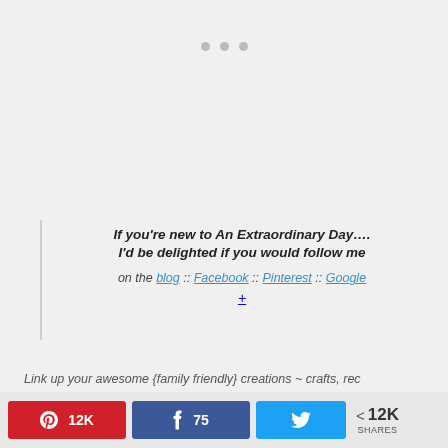[Figure (other): Three gray dots (pagination or loading indicator) centered at the top of the page]
If you're new to An Extraordinary Day....
I'd be delighted if you would follow me
on the blog :: Facebook :: Pinterest :: Google
+
Link up your awesome {family friendly} creations ~ crafts, rec
12K   75   (Twitter bird)   < 12K SHARES